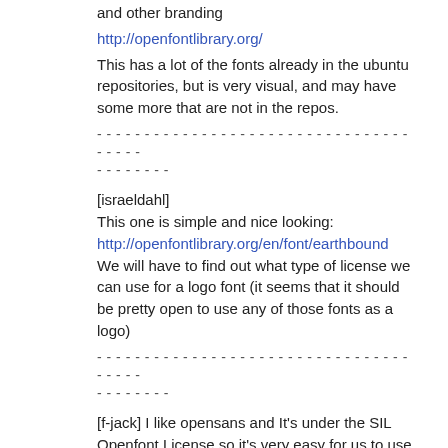and other branding
http://openfontlibrary.org/
This has a lot of the fonts already in the ubuntu repositories, but is very visual, and may have some more that are not in the repos.
- - - - - - - - - - - - - - - - - - - - - - - - - - - - - - - - - - - - - - - - - - - - - - - - -
[israeldahl]
This one is simple and nice looking:
http://openfontlibrary.org/en/font/earthbound
We will have to find out what type of license we can use for a logo font (it seems that it should be pretty open to use any of those fonts as a logo)
- - - - - - - - - - - - - - - - - - - - - - - - - - - - - - - - - - - - - - - - - - - - - - - - -
[f-jack] I like opensans and It's under the SIL Openfont License so it's very easy for us to use it.
- - - - - - - - - - - - - - - - - - - - - - - - - - - - - - - - - - - - - - - - - - - - - - - - -
[amjjawad] Logo is done. We do need now to finish this: https://blueprints.launchpad.net/torios/+spec/torios-logo - I have updated it and updated the Work Items to reflect our Plan and how we